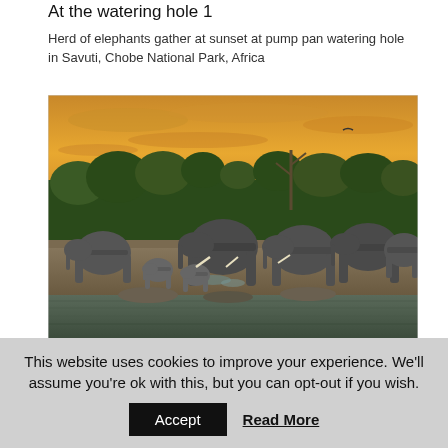At the watering hole 1
Herd of elephants gather at sunset at pump pan watering hole in Savuti, Chobe National Park, Africa
[Figure (photo): Herd of elephants gathered at a watering hole at sunset, with golden sky and green trees in background, Savuti, Chobe National Park, Africa]
At the watering hole 6
Herd of elephants gather at sunset at pump pan watering hole in Savuti, Chobe National Park, Africa
This website uses cookies to improve your experience. We'll assume you're ok with this, but you can opt-out if you wish.